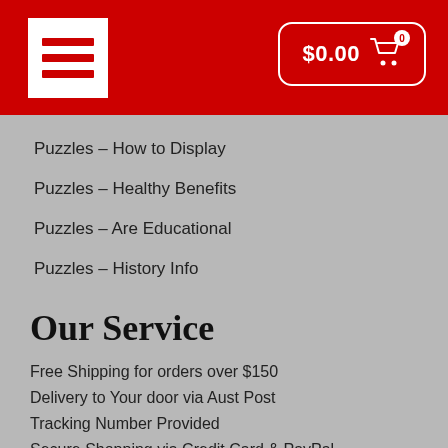$0.00 cart
Puzzles – How to Display
Puzzles – Healthy Benefits
Puzzles – Are Educational
Puzzles – History Info
Our Service
Free Shipping for orders over $150
Delivery to Your door via Aust Post
Tracking Number Provided
Secure Shopping via Credit Card & PayPal